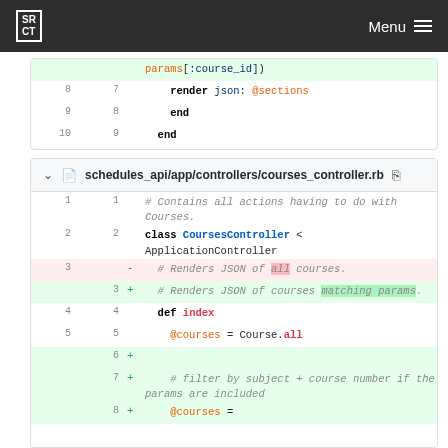SRCT | Menu
[Figure (screenshot): Code diff snippet showing lines 8-10 with params[:course_id], render json: @sections, end, end]
schedules_api/app/controllers/courses_controller.rb
[Figure (screenshot): Code diff for courses_controller.rb showing class CoursesController, comment changes about rendering JSON of courses, def index, @courses = Course.all, and added filter comment]